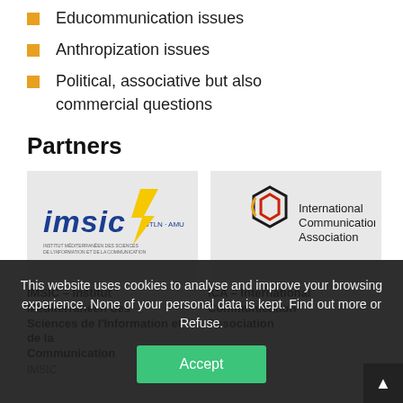Educommunication issues
Anthropization issues
Political, associative but also commercial questions
Partners
[Figure (logo): IMSIC logo — Institut Méditerranéen des Sciences de l'Information et de la Communication, UTLN-AMU, blue text with yellow lightning bolt]
[Figure (logo): ICA — International Communication Association logo with hexagon icon in red, yellow, and black outline]
IMSIC – Institut Méditerranéen des Sciences de l'Information et de la Communication
IMSIC
ICA – International Communication Association
This website uses cookies to analyse and improve your browsing experience. None of your personal data is kept. Find out more or Refuse.
Accept